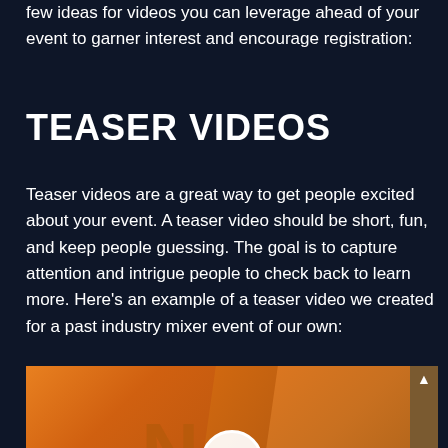few ideas for videos you can leverage ahead of your event to garner interest and encourage registration:
TEASER VIDEOS
Teaser videos are a great way to get people excited about your event. A teaser video should be short, fun, and keep people guessing. The goal is to capture attention and intrigue people to check back to learn more. Here’s an example of a teaser video we created for a past industry mixer event of our own:
[Figure (screenshot): Video thumbnail with orange gradient background showing a play button circle in the center and partial letter/logo visible, with a scrollbar on the right side]